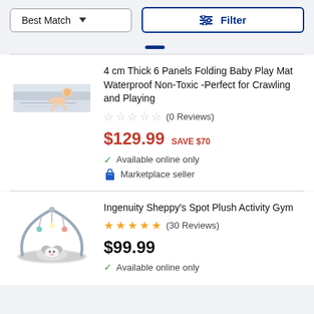Best Match | Filter
[Figure (screenshot): Product listing page with sort and filter controls, showing two baby product results]
4 cm Thick 6 Panels Folding Baby Play Mat Waterproof Non-Toxic -Perfect for Crawling and Playing
(0 Reviews)
$129.99  SAVE $70
Available online only
Marketplace seller
Ingenuity Sheppy's Spot Plush Activity Gym
(30 Reviews)
$99.99
Available online only